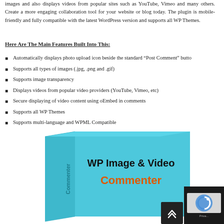images and also displays videos from popular sites such as YouTube, Vimeo and many others. Create a more engaging collaboration tool for your website or blog today. The plugin is mobile-friendly and fully compatible with the latest WordPress version and supports all WP Themes.
Here Are The Main Features Built Into This:
Automatically displays photo upload icon beside the standard “Post Comment” button
Supports all types of images (.jpg, .png and .gif)
Supports image transparency
Displays videos from popular video providers (YouTube, Vimeo, etc)
Secure displaying of video content using oEmbed in comments
Supports all WP Themes
Supports multi-language and WPML Compatible
Settings include changing caption labels and adjust default thumbnail size
Mobile Friendly and supports all mobile devices and tablets.
[Figure (illustration): 3D product box for WP Image & Video Commenter plugin, colored in cyan/light blue with the text 'WP Image & Video Commenter' on the front face and 'Commenter' written vertically on the left spine.]